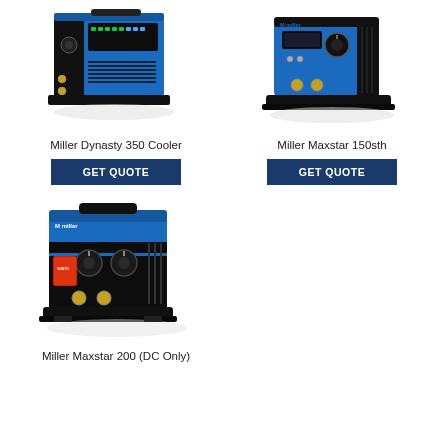[Figure (photo): Miller Dynasty 350 Cooler welding machine, blue and black, angled front view]
[Figure (photo): Miller Maxstar 150sth welding machine, blue and black, compact unit]
Miller Dynasty 350 Cooler
Miller Maxstar 150sth
GET QUOTE
GET QUOTE
[Figure (photo): Miller Maxstar 200 (DC Only) welding machine, blue and black, portable unit with controls]
Miller Maxstar 200 (DC Only)